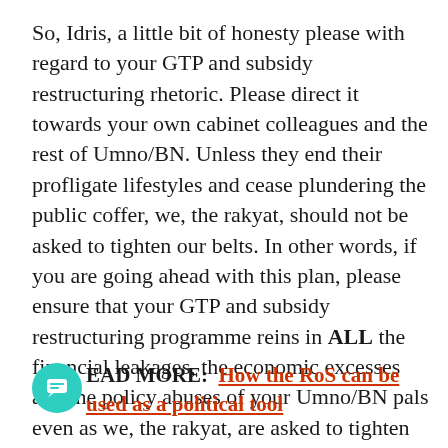So, Idris, a little bit of honesty please with regard to your GTP and subsidy restructuring rhetoric. Please direct it towards your own cabinet colleagues and the rest of Umno/BN. Unless they end their profligate lifestyles and cease plundering the public coffer, we, the rakyat, should not be asked to tighten our belts. In other words, if you are going ahead with this plan, please ensure that your GTP and subsidy restructuring programme reins in ALL the financial leakages, the economic excesses and the policy abuses of your Umno/BN pals even as we, the rakyat, are asked to tighten our belts.
READ MORE: How the RoS can be used as a political tool